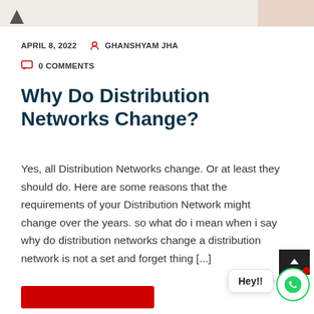APRIL 8, 2022  GHANSHYAM JHA  0 COMMENTS
Why Do Distribution Networks Change?
Yes, all Distribution Networks change. Or at least they should do. Here are some reasons that the requirements of your Distribution Network might change over the years. so what do i mean when i say why do distribution networks change a distribution network is not a set and forget thing [...]